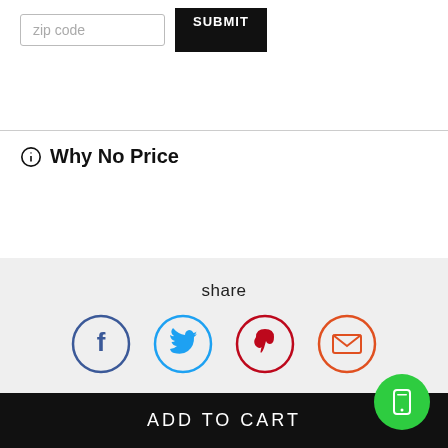zip code
SUBMIT
Why No Price
share
[Figure (illustration): Social share icons: Facebook (blue circle), Twitter (light blue circle), Pinterest (red circle), Email (orange-red circle with envelope icon)]
[Figure (schematic): Partial diagram showing a rounded rectangle bar at top with a D label, vertical divider, and two column boxes below]
ADD TO CART